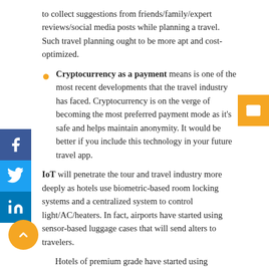to collect suggestions from friends/family/expert reviews/social media posts while planning a travel. Such travel planning ought to be more apt and cost-optimized.
Cryptocurrency as a payment means is one of the most recent developments that the travel industry has faced. Cryptocurrency is on the verge of becoming the most preferred payment mode as it's safe and helps maintain anonymity. It would be better if you include this technology in your future travel app.
IoT will penetrate the tour and travel industry more deeply as hotels use biometric-based room locking systems and a centralized system to control light/AC/heaters. In fact, airports have started using sensor-based luggage cases that will send alters to travelers.
Hotels of premium grade have started using recognition technology to grant access. They use fingerprinting scanning, retina scanning, and other